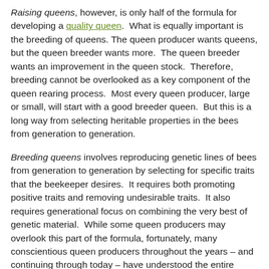Raising queens, however, is only half of the formula for developing a quality queen. What is equally important is the breeding of queens. The queen producer wants queens, but the queen breeder wants more. The queen breeder wants an improvement in the queen stock. Therefore, breeding cannot be overlooked as a key component of the queen rearing process. Most every queen producer, large or small, will start with a good breeder queen. But this is a long way from selecting heritable properties in the bees from generation to generation.
Breeding queens involves reproducing genetic lines of bees from generation to generation by selecting for specific traits that the beekeeper desires. It requires both promoting positive traits and removing undesirable traits. It also requires generational focus on combining the very best of genetic material. While some queen producers may overlook this part of the formula, fortunately, many conscientious queen producers throughout the years – and continuing through today – have understood the entire breadth and responsibility of raising queens. These individuals are much more than producers of queens; they are true breeders of quality